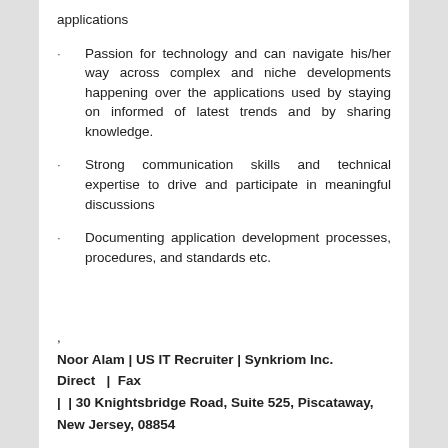applications
Passion for technology and can navigate his/her way across complex and niche developments happening over the applications used by staying on informed of latest trends and by sharing knowledge.
Strong communication skills and technical expertise to drive and participate in meaningful discussions
Documenting application development processes, procedures, and standards etc.
,
Noor Alam | US IT Recruiter | Synkriom Inc.
Direct   |  Fax
|  | 30 Knightsbridge Road, Suite 525, Piscataway, New Jersey, 08854